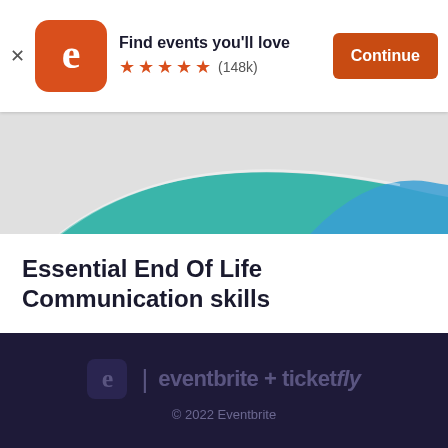[Figure (screenshot): Eventbrite app install banner with orange logo icon, app store rating of 5 stars (148k reviews), and Continue button]
[Figure (illustration): Partial event banner image showing teal and blue curved swoosh shapes on light grey background]
Essential End Of Life Communication skills
Wed, Sep 7, 2022 1:00 PM GMT
Free
eventbrite + ticketfly
© 2022 Eventbrite